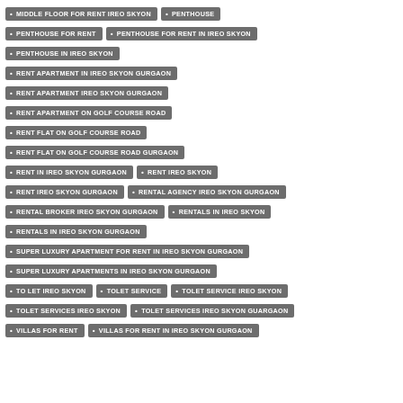MIDDLE FLOOR FOR RENT IREO SKYON
PENTHOUSE
PENTHOUSE FOR RENT
PENTHOUSE FOR RENT IN IREO SKYON
PENTHOUSE IN IREO SKYON
RENT APARTMENT IN IREO SKYON GURGAON
RENT APARTMENT IREO SKYON GURGAON
RENT APARTMENT ON GOLF COURSE ROAD
RENT FLAT ON GOLF COURSE ROAD
RENT FLAT ON GOLF COURSE ROAD GURGAON
RENT IN IREO SKYON GURGAON
RENT IREO SKYON
RENT IREO SKYON GURGAON
RENTAL AGENCY IREO SKYON GURGAON
RENTAL BROKER IREO SKYON GURGAON
RENTALS IN IREO SKYON
RENTALS IN IREO SKYON GURGAON
SUPER LUXURY APARTMENT FOR RENT IN IREO SKYON GURGAON
SUPER LUXURY APARTMENTS IN IREO SKYON GURGAON
TO LET IREO SKYON
TOLET SERVICE
TOLET SERVICE IREO SKYON
TOLET SERVICES IREO SKYON
TOLET SERVICES IREO SKYON GUARGAON
VILLAS FOR RENT
VILLAS FOR RENT IN IREO SKYON GURGAON